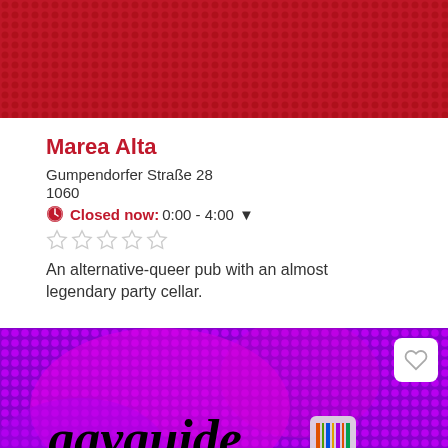[Figure (photo): Red halftone dotted background image at the top of the listing card]
Marea Alta
Gumpendorfer Straße 28
1060
Closed now: 0:00 - 4:00
[Figure (other): Five empty star rating icons]
An alternative-queer pub with an almost legendary party cellar.
[Figure (photo): Purple/magenta halftone dotted background image with 'gayguide wien' text logo and barcode icon, with a heart/favorite button in top-right corner]